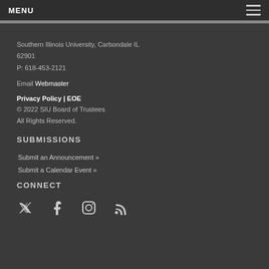MENU
Southern Illinois University, Carbondale IL 62901
P: 618-453-2121
Email Webmaster
Privacy Policy | EOE
© 2022 SIU Board of Trustees
All Rights Reserved.
SUBMISSIONS
Submit an Announcement »
Submit a Calendar Event »
CONNECT
[Figure (other): Social media icons: Twitter, Facebook, Instagram, RSS]